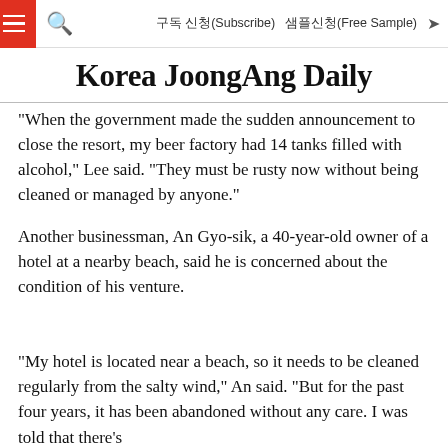구독 신청(Subscribe)  샘플신청(Free Sample)
Korea JoongAng Daily
"When the government made the sudden announcement to close the resort, my beer factory had 14 tanks filled with alcohol," Lee said. "They must be rusty now without being cleaned or managed by anyone."
Another businessman, An Gyo-sik, a 40-year-old owner of a hotel at a nearby beach, said he is concerned about the condition of his venture.
"My hotel is located near a beach, so it needs to be cleaned regularly from the salty wind," An said. "But for the past four years, it has been abandoned without any care. I was told that there's